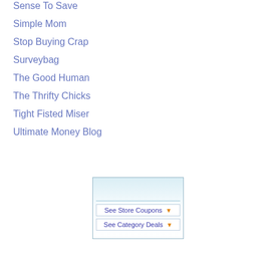Sense To Save
Simple Mom
Stop Buying Crap
Surveybag
The Good Human
The Thrifty Chicks
Tight Fisted Miser
Ultimate Money Blog
[Figure (screenshot): A widget box with a light blue gradient background containing two dropdown-style buttons: 'See Store Coupons' and 'See Category Deals', each with an orange dropdown arrow on the right.]